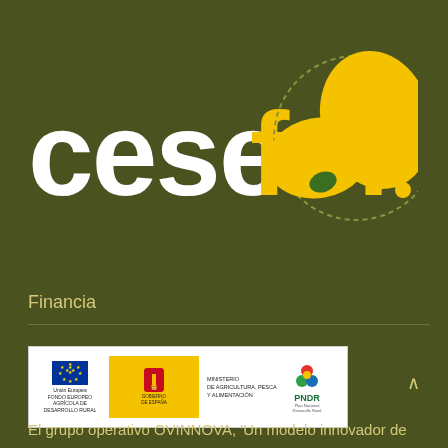[Figure (logo): Cesefor logo with yellow 'cesefor' text and butterfly/leaf graphic on dark olive green background]
Financia
[Figure (logo): Funding logos: European Union flag, Gobierno de España shield on yellow background, Ministerio text, PNDR colorful logo]
El grupo operativo OVINNOVA, 'Un modelo innovador de